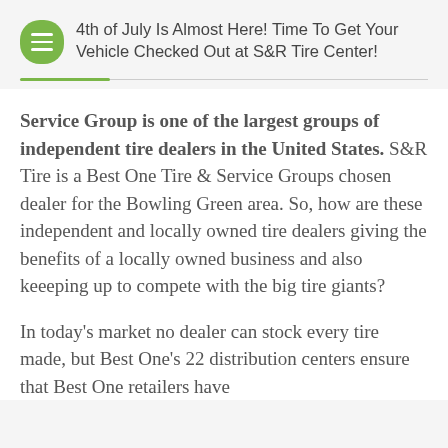4th of July Is Almost Here! Time To Get Your Vehicle Checked Out at S&R Tire Center!
Service Group is one of the largest groups of independent tire dealers in the United States. S&R Tire is a Best One Tire & Service Groups chosen dealer for the Bowling Green area. So, how are these independent and locally owned tire dealers giving the benefits of a locally owned business and also keeeping up to compete with the big tire giants?
In today's market no dealer can stock every tire made, but Best One's 22 distribution centers ensure that Best One retailers have